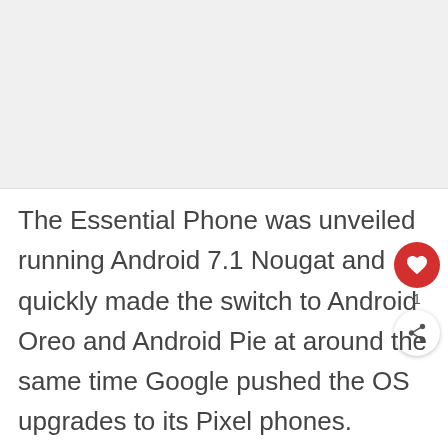[Figure (other): Image placeholder at top of article]
The Essential Phone was unveiled running Android 7.1 Nougat and quickly made the switch to Android Oreo and Android Pie at around the same time Google pushed the OS upgrades to its Pixel phones.